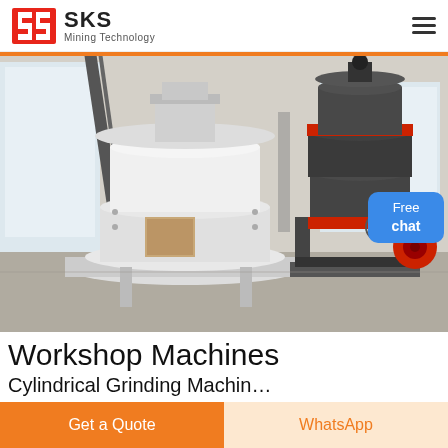SKS Mining Technology
[Figure (photo): Two large industrial grinding/milling machines in a workshop — one white cylindrical machine on the left and one dark grey/black machine with red rings on the right, both on a factory floor with concrete walls and windows in background.]
Workshop Machines
Cylindrical Grinding Machines